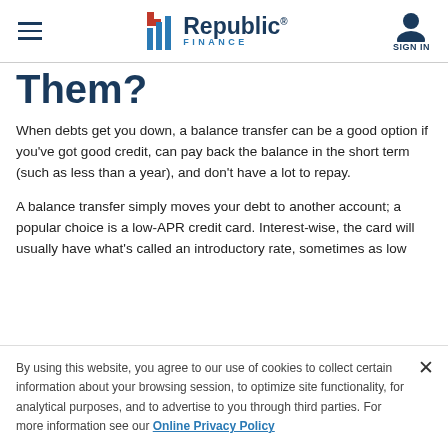Republic Finance | Navigation header with hamburger menu, Republic Finance logo, and Sign In button
Them?
When debts get you down, a balance transfer can be a good option if you've got good credit, can pay back the balance in the short term (such as less than a year), and don't have a lot to repay.
A balance transfer simply moves your debt to another account; a popular choice is a low-APR credit card. Interest-wise, the card will usually have what's called an introductory rate, sometimes as low
By using this website, you agree to our use of cookies to collect certain information about your browsing session, to optimize site functionality, for analytical purposes, and to advertise to you through third parties. For more information see our Online Privacy Policy